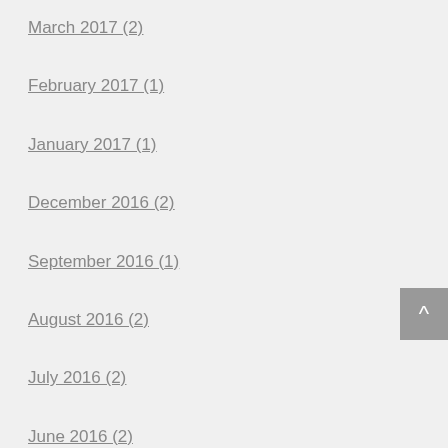March 2017 (2)
February 2017 (1)
January 2017 (1)
December 2016 (2)
September 2016 (1)
August 2016 (2)
July 2016 (2)
June 2016 (2)
May 2016 (2)